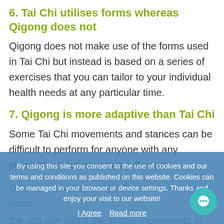6. Tai Chi utilises forms whereas Qigong does not
Qigong does not make use of the forms used in Tai Chi but instead is based on a series of exercises that you can tailor to your individual health needs at any particular time.
7. Qigong is more adaptive than Tai Chi
Some Tai Chi movements and stances can be difficult to perform for anyone with any physical restriction or injury. Because Qigong is simpler and performed at a slower pace, you can adapt the simple movements of Qigong to your own individual abilities.
So, if you would like to learn some Qigong
By using this site you consent to the use of cookies and our terms and conditions as published on this website. Cookies can be managed in your browser or device settings. Thanks and enjoy your visit to our website!